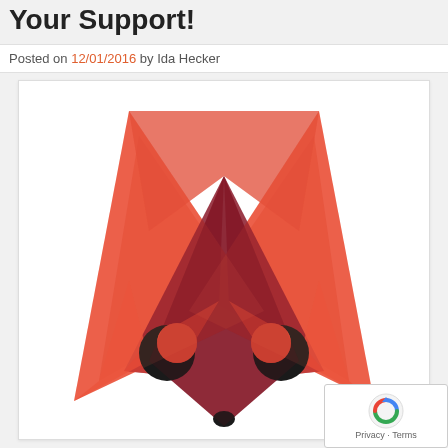Your Support!
Posted on 12/01/2016 by Ida Hecker
[Figure (illustration): A stylized watercolor fox face illustration with large red-orange ears, dark maroon facial markings forming a V-shape from the ears to the chin, two circular black eyes with crescent cutouts, and a small black oval nose at the bottom center. The overall style is flat/geometric with watercolor texture.]